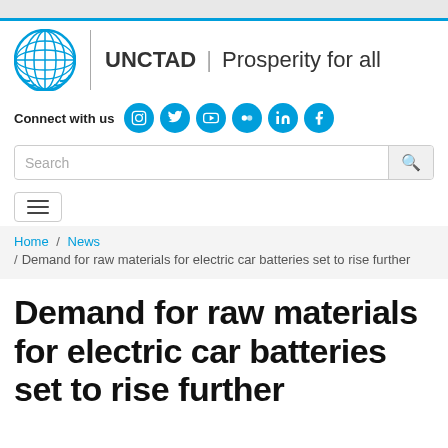[Figure (logo): UNCTAD logo with UN emblem and text 'UNCTAD | Prosperity for all']
[Figure (infographic): Connect with us social media icons: Instagram, Twitter, YouTube, Flickr, LinkedIn, Facebook]
Search
Home / News / Demand for raw materials for electric car batteries set to rise further
Demand for raw materials for electric car batteries set to rise further